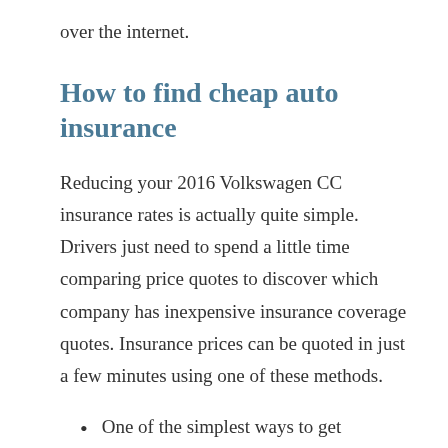over the internet.
How to find cheap auto insurance
Reducing your 2016 Volkswagen CC insurance rates is actually quite simple. Drivers just need to spend a little time comparing price quotes to discover which company has inexpensive insurance coverage quotes. Insurance prices can be quoted in just a few minutes using one of these methods.
One of the simplest ways to get